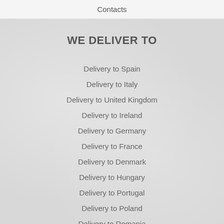Contacts
WE DELIVER TO
Delivery to Spain
Delivery to Italy
Delivery to United Kingdom
Delivery to Ireland
Delivery to Germany
Delivery to France
Delivery to Denmark
Delivery to Hungary
Delivery to Portugal
Delivery to Poland
Delivery to Romania
Delivery to Belgium
See all destinations